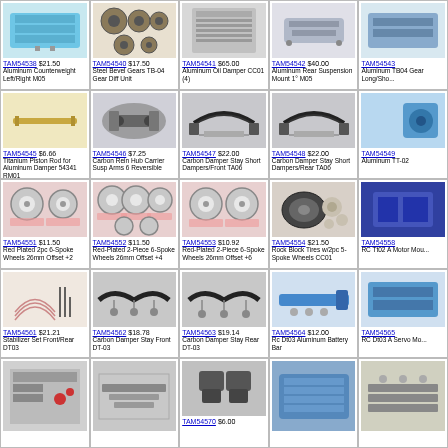| TAM54538 $21.50 Aluminum Counterweight Left/Right M05 | TAM54540 $17.50 Steel Bevel Gears TB-04 Gear Diff Unit | TAM54541 $65.00 Aluminum Oil Damper CC01 (4) | TAM54542 $40.00 Aluminum Rear Suspension Mount 1° M05 | TAM54543 Aluminum TB04 Gear Long/Sho... |
| TAM54545 $6.66 Titanium Piston Rod for Aluminum Damper 54341 RM01 | TAM54546 $7.25 Carbon Rein Hub Carrier Susp Arms 6 Reversible | TAM54547 $22.00 Carbon Damper Stay Short Dampers/Front TA06 | TAM54548 $22.00 Carbon Damper Stay Short Dampers/Rear TA06 | TAM54549 Aluminum TT-02 |
| TAM54551 $11.50 Red Plated 2pc 6-Spoke Wheels 26mm Offset +2 | TAM54552 $11.50 Red-Plated 2-Piece 6-Spoke Wheels 26mm Offset +4 | TAM54553 $10.92 Red-Plated 2-Piece 6-Spoke Wheels 26mm Offset +6 | TAM54554 $21.50 Rock Block Tires w/2pc 5-Spoke Wheels CC01 | TAM54558 RC Tt02 A Motor Mou... |
| TAM54561 $21.21 Stabilizer Set Front/Rear DT03 | TAM54562 $18.78 Carbon Damper Stay Front DT-03 | TAM54563 $19.14 Carbon Damper Stay Rear DT-03 | TAM54564 $12.00 Rc Dt03 Aluminum Battery Bar | TAM54565 RC Dt03 A Servo Mo... |
| (image) | (image) | TAM54570 $6.00 | (image) | (image) |